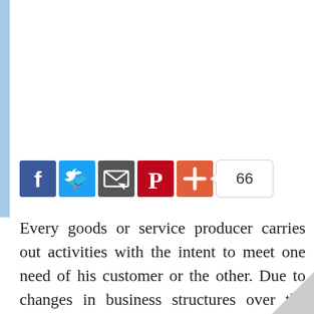[Figure (infographic): Social sharing bar with Facebook, Twitter, Email, Pinterest, and plus (+) buttons, followed by a share count bubble showing 66]
Every goods or service producer carries out activities with the intent to meet one need of his customer or the other. Due to changes in business structures over the years, it became necessary to find a better way to